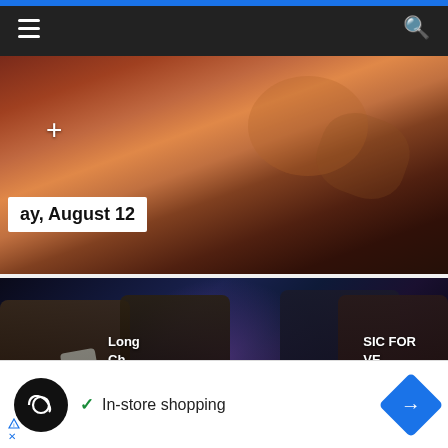Navigation header with hamburger menu and search icon
[Figure (photo): A concert/event photo with warm reddish-brown tones showing musical instruments and equipment, with a white overlay label reading 'ay, August 12' and a plus icon]
[Figure (photo): A band performing on stage at what appears to be Long Beach Blues event with text overlay reading 'Long Ch es e+ SIC FOR VE O', showing musicians playing trumpet and saxophone under purple/blue stage lighting]
In-store shopping
[Figure (logo): Circular black logo with infinity/loop symbol]